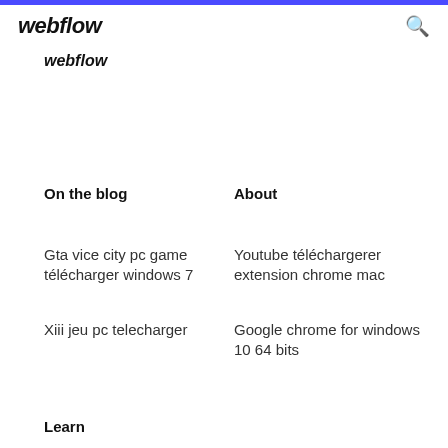webflow
webflow
On the blog
About
Gta vice city pc game télécharger windows 7
Youtube téléchargerer extension chrome mac
Xiii jeu pc telecharger
Google chrome for windows 10 64 bits
Learn